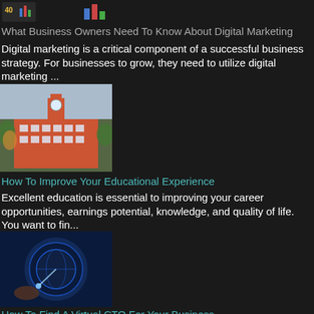[Figure (illustration): Header icon with chart/graph image on dark background]
What Business Owners Need To Know About Digital Marketing
Digital marketing is a critical component of a successful business strategy. For businesses to grow, they need to utilize digital marketing ...
[Figure (photo): Photo of a red brick university building with a clock tower and autumn trees]
How To Improve Your Educational Experience
Excellent education is essential to improving your career opportunities, earnings potential, knowledge, and quality of life. You want to fin...
[Figure (photo): Technology image with a glowing globe and hand on dark blue background]
How To Find A Virtual CTO For Your Business
Every company is trying to find ways to speed up its business growth. There are many reasons for this, from the ever-changing technological ...
[Figure (photo): Photo of a laptop keyboard with a Bitcoin coin]